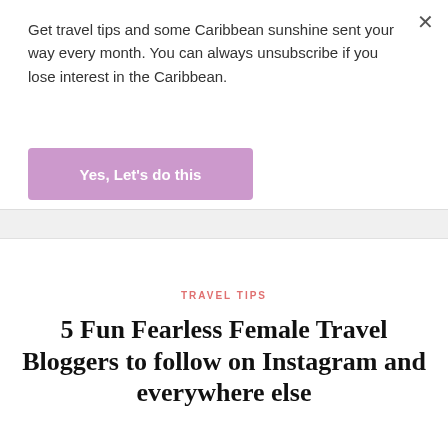Get travel tips and some Caribbean sunshine sent your way every month. You can always unsubscribe if you lose interest in the Caribbean.
Yes, Let's do this
TRAVEL TIPS
5 Fun Fearless Female Travel Bloggers to follow on Instagram and everywhere else
NOVEMBER 29, 2016
[Figure (photo): Green tropical foliage photo strip at bottom of page]